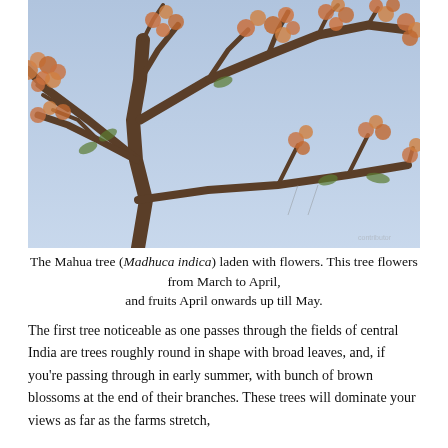[Figure (photo): A Mahua tree (Madhuca indica) photographed against a pale blue sky, branches covered with orange-brown blossoms and sparse green leaves.]
The Mahua tree (Madhuca indica) laden with flowers. This tree flowers from March to April, and fruits April onwards up till May.
The first tree noticeable as one passes through the fields of central India are trees roughly round in shape with broad leaves, and, if you're passing through in early summer, with bunch of brown blossoms at the end of their branches. These trees will dominate your views as far as the farms stretch,